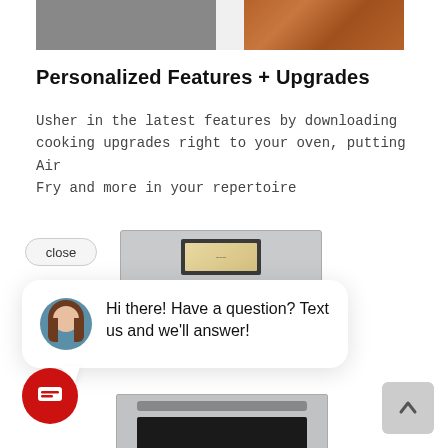[Figure (screenshot): Top portion showing color/finish selector strip with dark gray, white, and wood/brown finish options for an oven]
Personalized Features + Upgrades
Usher in the latest features by downloading cooking upgrades right to your oven, putting Air Fry and more in your repertoire
[Figure (screenshot): Screenshot of oven product page with a live chat overlay. Shows a double wall oven (stainless steel) with a close button, a chat bubble featuring a smiling woman avatar saying 'Hi there! Have a question? Text us and we'll answer!', a red chat launcher button, and an up-arrow scroll-to-top button.]